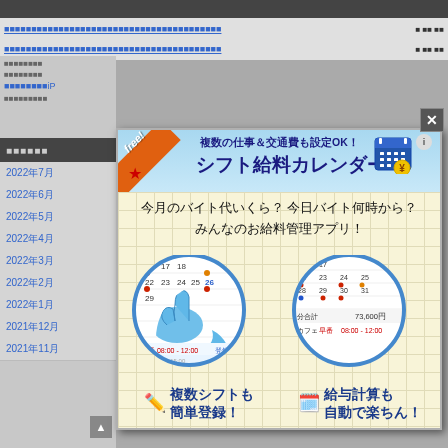[Figure (screenshot): Screenshot of a Japanese blog/website with a popup modal advertisement for 'Shift Salary Calendar' app (シフト給料カレンダー). Background shows gray website with navigation links and archive list. The modal shows an app advertisement with a calendar icon, handwritten Japanese text, two circular calendar screenshots, and feature descriptions.]
複数の仕事＆交通費も設定OK！
シフト給料カレンダー
今月のバイト代いくら？ 今日バイト何時から？
みんなのお給料管理アプリ！
複数シフトも
簡単登録！
給与計算も
自動で楽ちん！
2022年7月
2022年6月
2022年5月
2022年4月
2022年3月
2022年2月
2022年1月
2021年12月
2021年11月